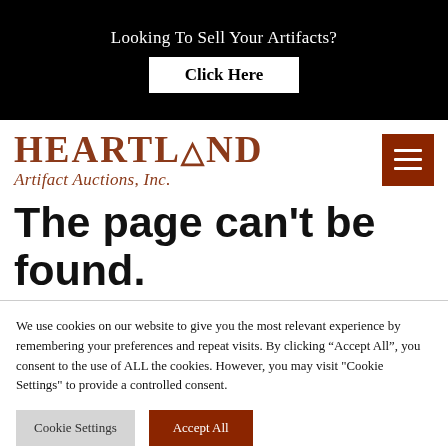Looking To Sell Your Artifacts? Click Here
[Figure (logo): Heartland Artifact Auctions, Inc. logo with arrowhead icon in brown/copper color, with hamburger menu button on the right]
The page can’t be found.
We use cookies on our website to give you the most relevant experience by remembering your preferences and repeat visits. By clicking “Accept All”, you consent to the use of ALL the cookies. However, you may visit "Cookie Settings" to provide a controlled consent.
Cookie Settings | Accept All